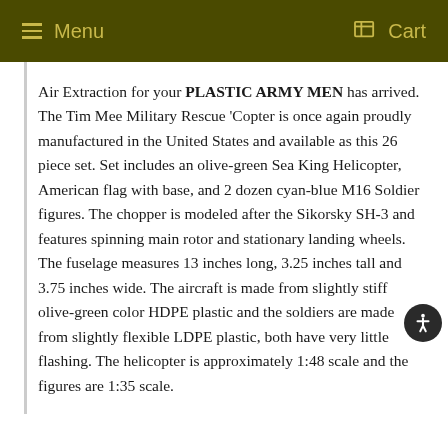Menu  Cart
Air Extraction for your PLASTIC ARMY MEN has arrived. The Tim Mee Military Rescue 'Copter is once again proudly manufactured in the United States and available as this 26 piece set. Set includes an olive-green Sea King Helicopter, American flag with base, and 2 dozen cyan-blue M16 Soldier figures. The chopper is modeled after the Sikorsky SH-3 and features spinning main rotor and stationary landing wheels. The fuselage measures 13 inches long, 3.25 inches tall and 3.75 inches wide. The aircraft is made from slightly stiff olive-green color HDPE plastic and the soldiers are made from slightly flexible LDPE plastic, both have very little flashing. The helicopter is approximately 1:48 scale and the figures are 1:35 scale.